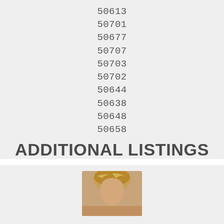50613
50701
50677
50707
50703
50702
50644
50638
50648
50658
ADDITIONAL LISTINGS
Featured Listings
[Figure (photo): Portrait photo of a person with highlighted/blonde hair, partially visible at bottom of page]